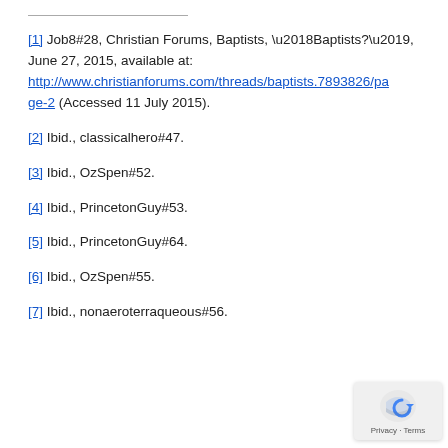[1] Job8#28, Christian Forums, Baptists, ‘Baptists?’, June 27, 2015, available at: http://www.christianforums.com/threads/baptists.7893826/page-2 (Accessed 11 July 2015).
[2] Ibid., classicalhero#47.
[3] Ibid., OzSpen#52.
[4] Ibid., PrincetonGuy#53.
[5] Ibid., PrincetonGuy#64.
[6] Ibid., OzSpen#55.
[7] Ibid., nonaeroterraqueous#56.